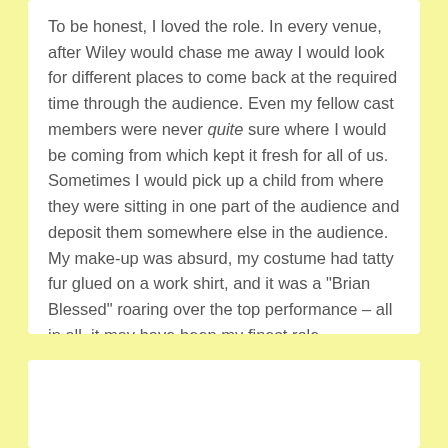To be honest, I loved the role. In every venue, after Wiley would chase me away I would look for different places to come back at the required time through the audience. Even my fellow cast members were never quite sure where I would be coming from which kept it fresh for all of us. Sometimes I would pick up a child from where they were sitting in one part of the audience and deposit them somewhere else in the audience. My make-up was absurd, my costume had tatty fur glued on a work shirt, and it was a "Brian Blessed" roaring over the top performance – all in all, it may have been my finest role.
(more...)